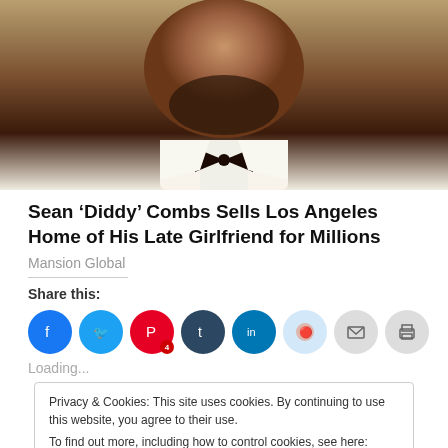[Figure (photo): Close-up photo of Sean 'Diddy' Combs wearing a white suit and black bow tie]
Sean ‘Diddy’ Combs Sells Los Angeles Home of His Late Girlfriend for Millions
Mansion Global
Share this:
Loading...
Privacy & Cookies: This site uses cookies. By continuing to use this website, you agree to their use.
To find out more, including how to control cookies, see here: Cookie Policy